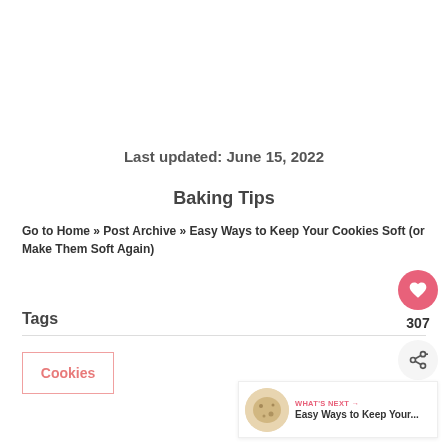Last updated: June 15, 2022
Baking Tips
Go to Home » Post Archive » Easy Ways to Keep Your Cookies Soft (or Make Them Soft Again)
Tags
Cookies
[Figure (other): Heart like button with count 307 and share button]
[Figure (other): WHAT'S NEXT -> Easy Ways to Keep Your... with cookie image thumbnail]